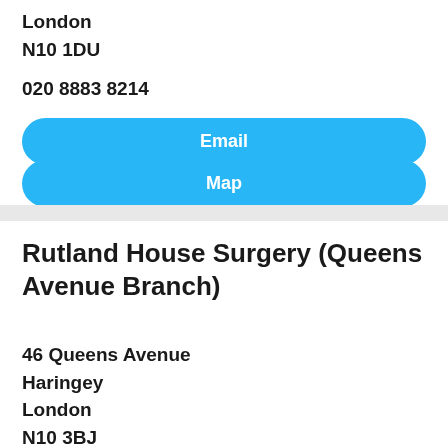London
N10 1DU
020 8883 8214
Email
Map
Rutland House Surgery (Queens Avenue Branch)
46 Queens Avenue
Haringey
London
N10 3BJ
020 8883 8214